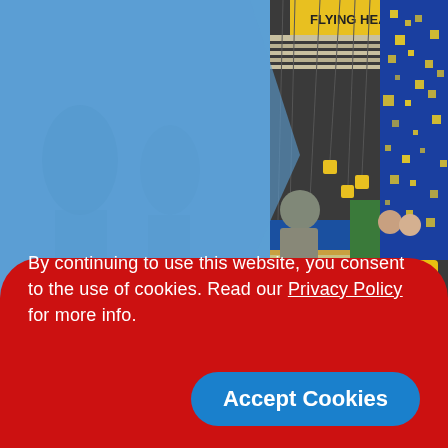[Figure (photo): Interior of an exhibition hall or trade show booth with blue and yellow decor, hanging yellow cube lights, people at a reception desk, and yellow chairs. The left portion has a light blue background with faint watermark-like figures.]
By continuing to use this website, you consent to the use of cookies. Read our Privacy Policy for more info.
Accept Cookies